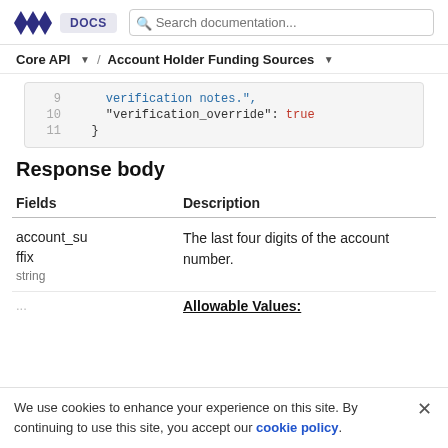DOCS  Search documentation...
Core API ▾ / Account Holder Funding Sources ▾
[Figure (screenshot): Code block showing lines 9-11 of JSON: line 9 has 'verification notes.' in blue, line 10 has 'verification_override': true with 'true' in red, line 11 has closing brace '}']
Response body
| Fields | Description |
| --- | --- |
| account_suffix
string | The last four digits of the account number. |
| ... | Allowable Values: |
We use cookies to enhance your experience on this site. By continuing to use this site, you accept our cookie policy.